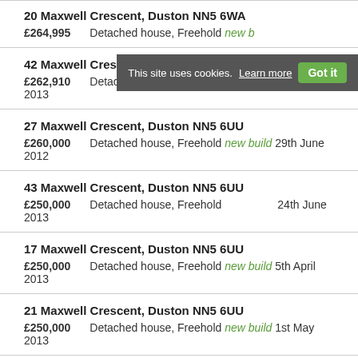20 Maxwell Crescent, Duston NN5 6WA — £264,995 — Detached house, Freehold new build
42 Maxwell Crescent, Duston NN5 6WA — £262,910 — Detached house, Freehold new build 14th June 2013
27 Maxwell Crescent, Duston NN5 6UU — £260,000 — Detached house, Freehold new build 29th June 2012
43 Maxwell Crescent, Duston NN5 6UU — £250,000 — Detached house, Freehold 24th June 2013
17 Maxwell Crescent, Duston NN5 6UU — £250,000 — Detached house, Freehold new build 5th April 2013
21 Maxwell Crescent, Duston NN5 6UU — £250,000 — Detached house, Freehold new build 1st May 2013
10 Maxwell Crescent, Duston NN5 6UU (partial)